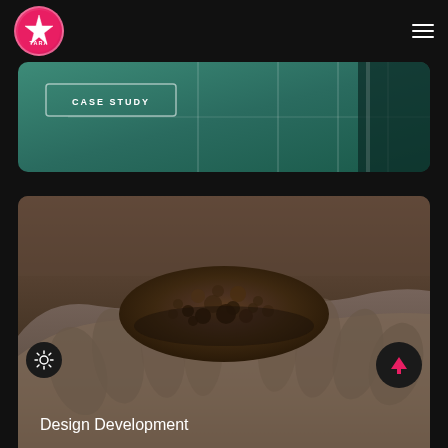[Figure (logo): TARA logo — circular pink/magenta badge with star and text]
[Figure (screenshot): Partial case study card with teal/green background and grid lines, showing 'CASE STUDY' label in white outlined box]
CASE STUDY
[Figure (photo): Close-up photograph of two hands cupping a mound of dark soil/earth, with Design Development label overlaid]
Design Development